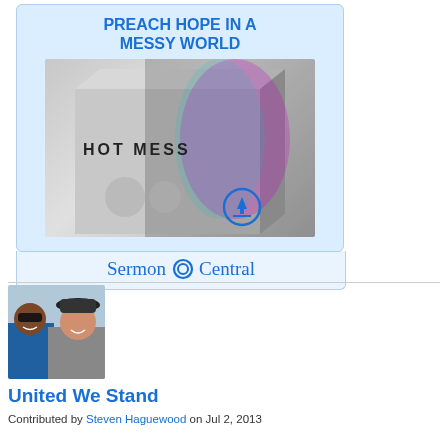[Figure (illustration): Advertisement banner for SermonCentral 'Hot Mess' sermon series. Blue background with bold blue headline 'PREACH HOPE IN A MESSY WORLD', product box image showing 'HOT MESS' text with glitchy figure overlay and download icon, SermonCentral logo at bottom.]
[Figure (photo): Profile photo of two men smiling outdoors, one wearing sunglasses and blue tank top, the other wearing a dark hat and grey shirt.]
United We Stand
Contributed by Steven Haguewood on Jul 2, 2013